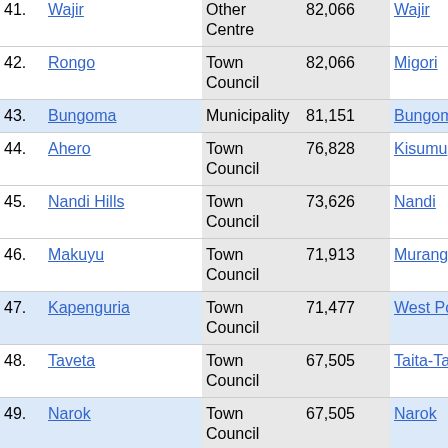| # | Name | Type | Population | County | Ref |
| --- | --- | --- | --- | --- | --- |
| 41. | Wajir | Other Centre | 82,066 | Wajir | [5] |
| 42. | Rongo | Town Council | 82,066 | Migori | [5] |
| 43. | Bungoma | Municipality | 81,151 | Bungoma | [5] |
| 44. | Ahero | Town Council | 76,828 | Kisumu | [5] |
| 45. | Nandi Hills | Town Council | 73,626 | Nandi | [5] |
| 46. | Makuyu | Town Council | 71,913 | Murang'a | [5] |
| 47. | Kapenguria | Town Council | 71,477 | West Pokot | [5] |
| 48. | Taveta | Town Council | 67,505 | Taita-Taveta |  |
| 49. | Narok | Town Council | 67,505 | Narok | [5] |
| 50. | Ol Kalou | Town Council | 66,015 | Nyandarua | [5] |
| 51. | Kakuma | Other Centre | 65,814 | Turkana | [5] |
| 52. | Webuye | Municipality | 65,280 | Bungoma | [5] |